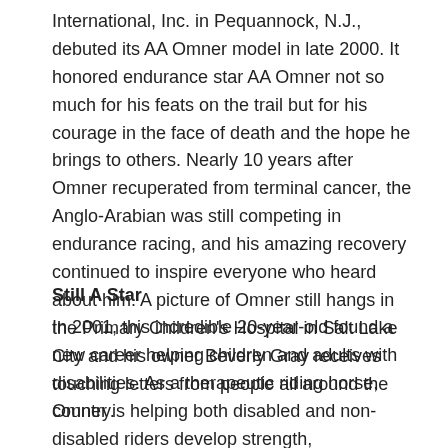International, Inc. in Pequannock, N.J., debuted its AA Omner model in late 2000. It honored endurance star AA Omner not so much for his feats on the trail but for his courage in the face of death and the hope he brings to others. Nearly 10 years after Omner recuperated from terminal cancer, the Anglo-Arabian was still competing in endurance racing, and his amazing recovery continued to inspire everyone who heard about him. A picture of Omner still hangs in the Primary Children's Hospital in Salt Lake City and his owner Beverly Gray receives touching letters from people all around the country.
Still A Star
In 2001, this incredible 20-year-old found a new career helping children and adults with disabilities. As a therapeutic riding horse, Omner is helping both disabled and non-disabled riders develop strength, coordination, balance and self-esteem. His calling is giving unconditional love and hope.